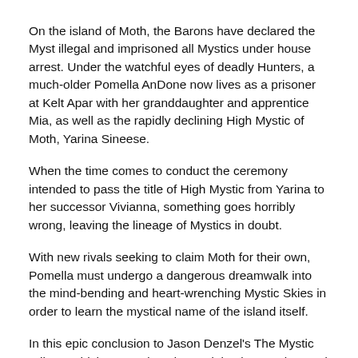On the island of Moth, the Barons have declared the Myst illegal and imprisoned all Mystics under house arrest. Under the watchful eyes of deadly Hunters, a much-older Pomella AnDone now lives as a prisoner at Kelt Apar with her granddaughter and apprentice Mia, as well as the rapidly declining High Mystic of Moth, Yarina Sineese.
When the time comes to conduct the ceremony intended to pass the title of High Mystic from Yarina to her successor Vivianna, something goes horribly wrong, leaving the lineage of Mystics in doubt.
With new rivals seeking to claim Moth for their own, Pomella must undergo a dangerous dreamwalk into the mind-bending and heart-wrenching Mystic Skies in order to learn the mystical name of the island itself.
In this epic conclusion to Jason Denzel's The Mystic Trilogy, which spans decades and timeless realms and dreams, Pomella must confront her greatest and most personal challenge yet. For the Deep mysteries of the world will reveal themselves only to the most powerful and dedicated of